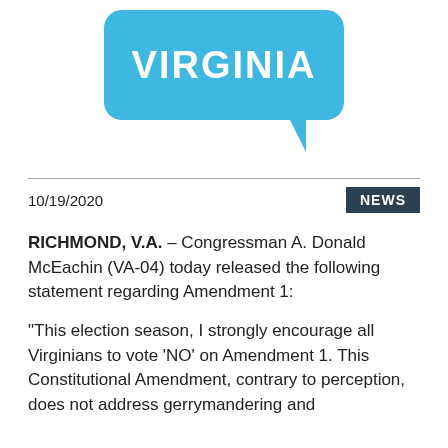[Figure (logo): Blue speech bubble with white text reading VIRGINIA, with a tail pointing bottom-right, on white background]
10/19/2020
NEWS
RICHMOND, V.A. – Congressman A. Donald McEachin (VA-04) today released the following statement regarding Amendment 1:
“This election season, I strongly encourage all Virginians to vote ‘NO’ on Amendment 1. This Constitutional Amendment, contrary to perception, does not address gerrymandering and